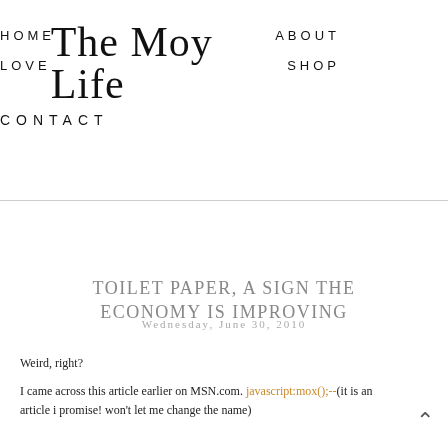HOME   ABOUT   LOVE   The Moy Life [logo]   SHOP   CONTACT
TOILET PAPER, A SIGN THE ECONOMY IS IMPROVING
Wednesday, June 30, 2010
Weird, right?
I came across this article earlier on MSN.com. javascript:mox();--(it is an article i promise! won't let me change the name)